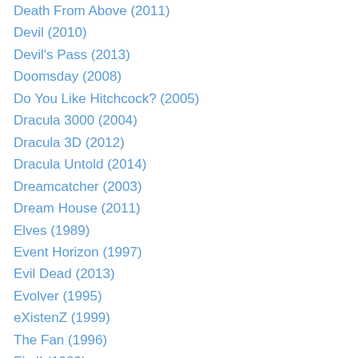Death From Above (2011)
Devil (2010)
Devil's Pass (2013)
Doomsday (2008)
Do You Like Hitchcock? (2005)
Dracula 3000 (2004)
Dracula 3D (2012)
Dracula Untold (2014)
Dreamcatcher (2003)
Dream House (2011)
Elves (1989)
Event Horizon (1997)
Evil Dead (2013)
Evolver (1995)
eXistenZ (1999)
The Fan (1996)
Fly II (1989)
Forbidden World (1982)
Freddy vs. Jason (2003)
Friday the 13th (1980)